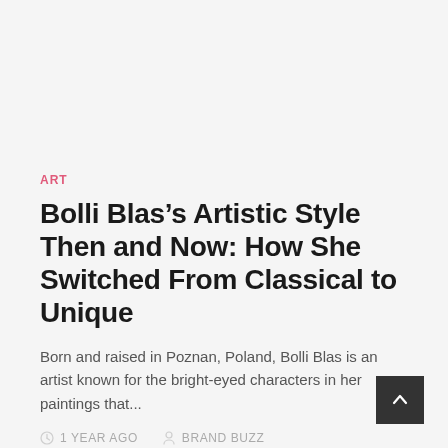ART
Bolli Blas’s Artistic Style Then and Now: How She Switched From Classical to Unique
Born and raised in Poznan, Poland, Bolli Blas is an artist known for the bright-eyed characters in her paintings that…
1 YEAR AGO   BRAND BUZZ